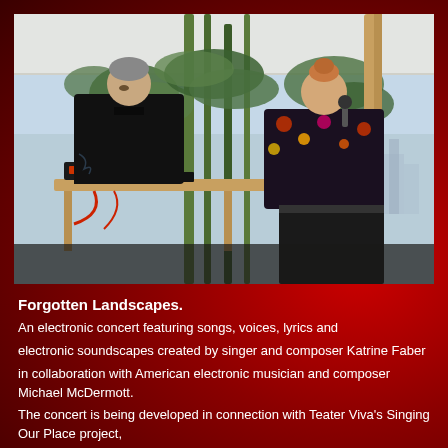[Figure (photo): Two performers on an outdoor stage under a white canopy surrounded by tall green plants. On the left, a man in a black shirt operates electronic music equipment on a wooden table. On the right, a woman in a floral top sings into a microphone.]
Forgotten Landscapes.
An electronic concert featuring songs, voices, lyrics and electronic soundscapes created by singer and composer Katrine Faber in collaboration with American electronic musician and composer Michael McDermott. The concert is being developed in connection with Teater Viva's Singing Our Place project,